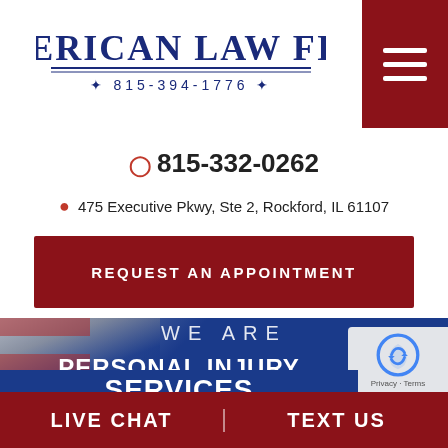[Figure (logo): American Law Firm logo with phone number 815-394-1776 in dark blue decorative font]
815-332-0262
475 Executive Pkwy, Ste 2, Rockford, IL 61107
REQUEST AN APPOINTMENT
[Figure (photo): American flag background with blue overlay and white text: WE ARE PERSONAL INJURY SERVICES]
LIVE CHAT   TEXT US